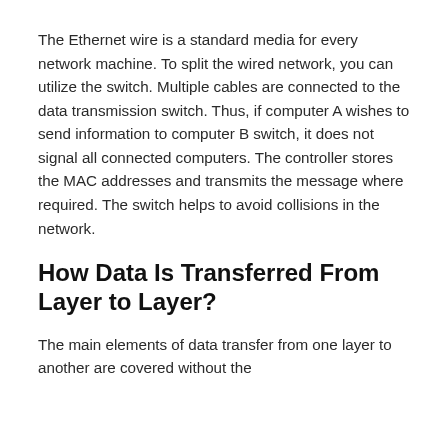The Ethernet wire is a standard media for every network machine. To split the wired network, you can utilize the switch. Multiple cables are connected to the data transmission switch. Thus, if computer A wishes to send information to computer B switch, it does not signal all connected computers. The controller stores the MAC addresses and transmits the message where required. The switch helps to avoid collisions in the network.
How Data Is Transferred From Layer to Layer?
The main elements of data transfer from one layer to another are covered without the